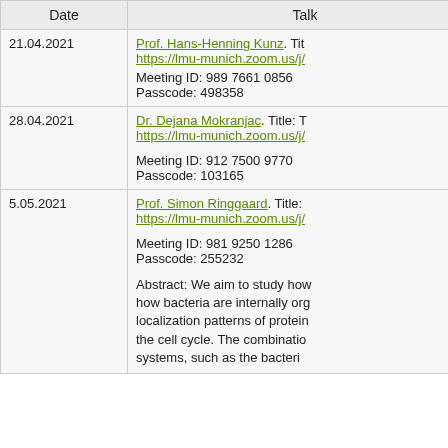| Date | Talk |
| --- | --- |
| 21.04.2021 | Prof. Hans-Henning Kunz. Title: [truncated] https://lmu-munich.zoom.us/j/[truncated] Meeting ID: 989 7661 0856 Passcode: 498358 |
| 28.04.2021 | Dr. Dejana Mokranjac. Title: T[truncated] https://lmu-munich.zoom.us/j/[truncated] Meeting ID: 912 7500 9770 Passcode: 103165 |
| 5.05.2021 | Prof. Simon Ringgaard. Title: [truncated] https://lmu-munich.zoom.us/j/[truncated] Meeting ID: 981 9250 1286 Passcode: 255232 Abstract: We aim to study how how bacteria are internally org[truncated] localization patterns of protein[truncated] the cell cycle. The combinatio[truncated] systems, such as the bacteri[truncated] |